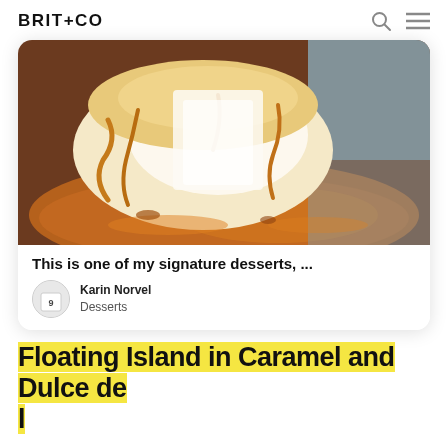BRIT+CO
[Figure (photo): Close-up photo of a floating island dessert with caramel sauce drizzled over it on a plate]
This is one of my signature desserts, ...
Karin Norvel
Desserts
Floating Island in Caramel and Dulce de le...